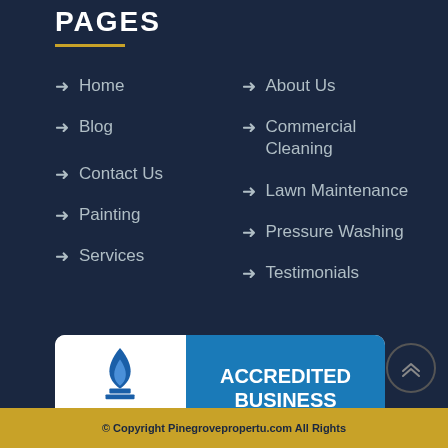PAGES
Home
Blog
Contact Us
Painting
Services
About Us
Commercial Cleaning
Lawn Maintenance
Pressure Washing
Testimonials
[Figure (logo): BBB Accredited Business badge with BBB Rating: A+]
© Copyright Pinegrovepropertu.com All Rights